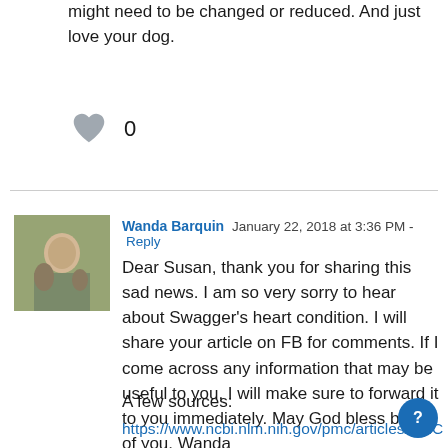might need to be changed or reduced. And just love your dog.
[Figure (illustration): Heart icon (like button) followed by count 0]
Wanda Barquin   January 22, 2018 at 3:36 PM - Reply
[Figure (photo): Profile photo of Wanda Barquin showing a person outdoors with animals]
Dear Susan, thank you for sharing this sad news. I am so very sorry to hear about Swagger's heart condition. I will share your article on FB for comments. If I come across any information that may be useful to you, I will make sure to forward it to you immediately. May God bless both of you. Wanda
A few sources:
https://www.ncbi.nlm.nih.gov/pmc/articles/PMC